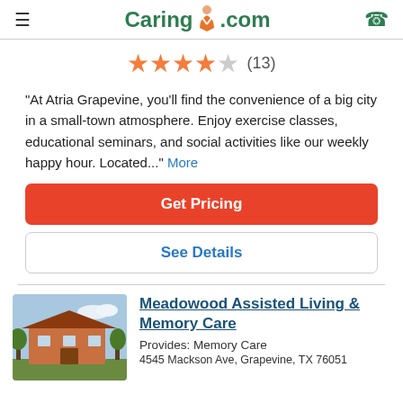Caring.com
[Figure (other): 4 filled orange stars and 1 empty star with review count (13)]
"At Atria Grapevine, you'll find the convenience of a big city in a small-town atmosphere. Enjoy exercise classes, educational seminars, and social activities like our weekly happy hour. Located..." More
Get Pricing
See Details
[Figure (photo): Photo of Meadowood Assisted Living & Memory Care building exterior with trees]
Meadowood Assisted Living & Memory Care
Provides: Memory Care
4545 Mackson Ave, Grapevine, TX 76051